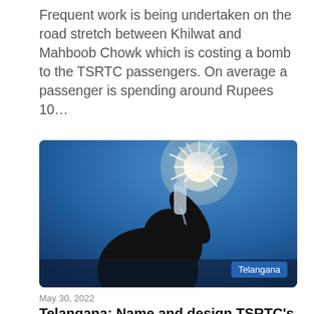Frequent work is being undertaken on the road stretch between Khilwat and Mahboob Chowk which is costing a bomb to the TSRTC passengers. On average a passenger is spending around Rupees 10…
[Figure (photo): Silhouette of a person drinking water from a bottle against a bright sunlit sky, with a 'Telangana' label badge in the bottom right corner.]
May 30, 2022
Telangana: Name and design TSRTC's new water bottles, win prizes
Hyderabad: To help passengers bear the summer heat, Telangana State Road Transport Corporation (TSRTC)